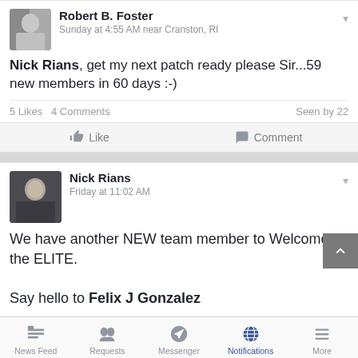[Figure (screenshot): Facebook mobile app screenshot showing two posts and bottom navigation tab bar]
Robert B. Foster
Sunday at 4:55 AM near Cranston, RI
Nick Rians, get my next patch ready please Sir...59 new members in 60 days :-)
5 Likes  4 Comments  Seen by 22
Nick Rians
Friday at 11:02 AM
We have another NEW team member to Welcome to the ELITE.

Say hello to Felix J Gonzalez
News Feed  Requests  Messenger  Notifications  More